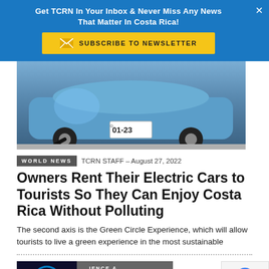Get TCRN In Your Inbox & Never Miss Any News That Matter In Costa Rica!
SUBSCRIBE TO NEWSLETTER
[Figure (photo): Bottom of a blue electric car with charging cable plugged in, shown on tiled pavement, with license plate reading 01-23]
WORLD NEWS   TCRN STAFF - August 27, 2022
Owners Rent Their Electric Cars to Tourists So They Can Enjoy Costa Rica Without Polluting
The second axis is the Green Circle Experience, which will allow tourists to live a green experience in the most sustainable
[Figure (photo): Thumbnail image for second article, dark background with glowing circular element]
SCIENCE & TECHNOLOGY
Will Require a New Profile
Language »